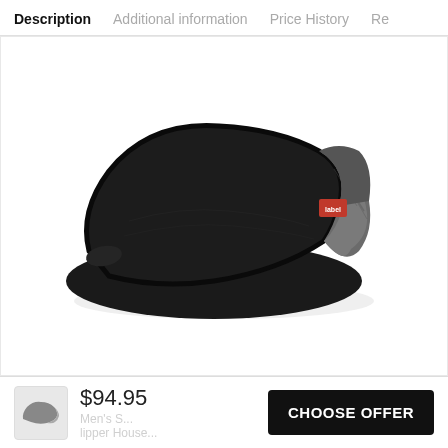Description  Additional information  Price History  Re
[Figure (photo): A black house slipper/mule with gray fabric heel lining and a small red brand label, viewed from the side at an angle on a white background.]
$94.95
CHOOSE OFFER